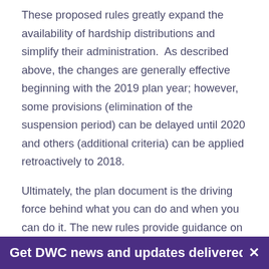These proposed rules greatly expand the availability of hardship distributions and simplify their administration.  As described above, the changes are generally effective beginning with the 2019 plan year; however, some provisions (elimination of the suspension period) can be delayed until 2020 and others (additional criteria) can be applied retroactively to 2018.
Ultimately, the plan document is the driving force behind what you can do and when you can do it. The new rules provide guidance on what is allowed, but your plan document will need to be amended to specify exactly how you will implement the changes.  The exact timing of those amendments is yet to be determined, but rest assured that the DWC team is on it and will follow keep you posted with future developments.
Get DWC news and updates delivered to your...